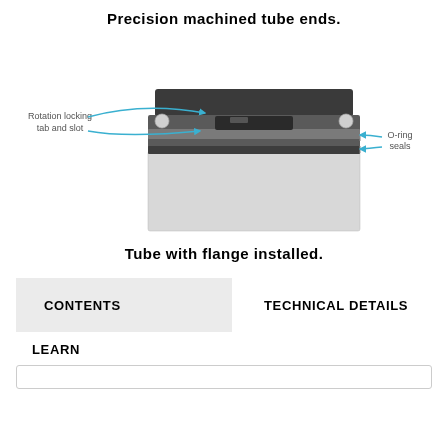Precision machined tube ends.
[Figure (engineering-diagram): Cross-section diagram of a precision machined tube end showing a flange installed on a tube. Labels point to 'Rotation locking tab and slot' on the left side and 'O-ring seals' on the right side, with blue arrows indicating the features.]
Tube with flange installed.
CONTENTS
TECHNICAL DETAILS
LEARN